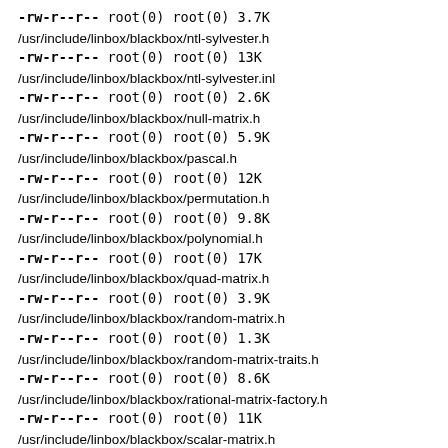-rw-r--r--  root(0)      root(0)        3.7K /usr/include/linbox/blackbox/ntl-sylvester.h
-rw-r--r--  root(0)      root(0)        13K /usr/include/linbox/blackbox/ntl-sylvester.inl
-rw-r--r--  root(0)      root(0)        2.6K /usr/include/linbox/blackbox/null-matrix.h
-rw-r--r--  root(0)      root(0)        5.9K /usr/include/linbox/blackbox/pascal.h
-rw-r--r--  root(0)      root(0)        12K /usr/include/linbox/blackbox/permutation.h
-rw-r--r--  root(0)      root(0)        9.8K /usr/include/linbox/blackbox/polynomial.h
-rw-r--r--  root(0)      root(0)        17K /usr/include/linbox/blackbox/quad-matrix.h
-rw-r--r--  root(0)      root(0)        3.9K /usr/include/linbox/blackbox/random-matrix.h
-rw-r--r--  root(0)      root(0)        1.3K /usr/include/linbox/blackbox/random-matrix-traits.h
-rw-r--r--  root(0)      root(0)        8.6K /usr/include/linbox/blackbox/rational-matrix-factory.h
-rw-r--r--  root(0)      root(0)        11K /usr/include/linbox/blackbox/scalar-matrix.h